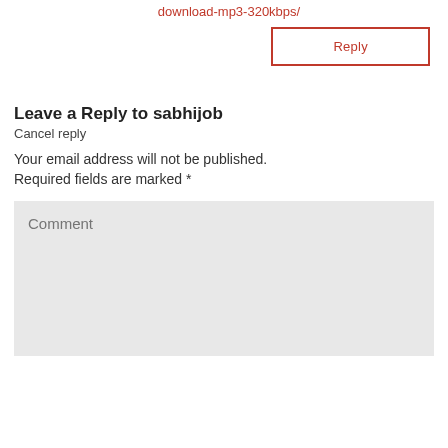download-mp3-320kbps/
Reply
Leave a Reply to sabhijob
Cancel reply
Your email address will not be published.
Required fields are marked *
Comment